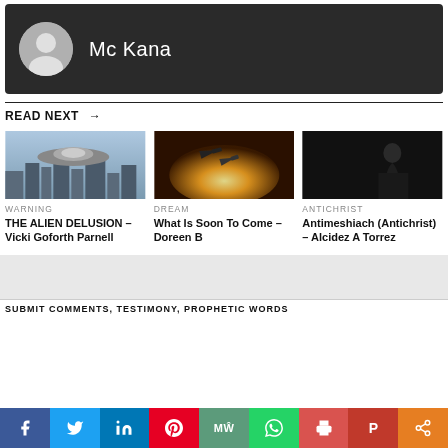[Figure (photo): User profile banner with dark background showing avatar icon and username Mc Kana]
READ NEXT →
[Figure (photo): UFO / flying saucer over a city skyline]
WARNING
THE ALIEN DELUSION – Vicki Goforth Parnell
[Figure (photo): Military jets flying through an explosion with bright orange light]
DREAM
What Is Soon To Come – Doreen B
[Figure (photo): A man in a suit silhouetted against a dark background]
ANTICHRIST
Antimeshiach (Antichrist) – Alcidez A Torrez
SUBMIT COMMENTS, TESTIMONY, PROPHETIC WORDS
[Figure (infographic): Social share bar with Facebook, Twitter, LinkedIn, Pinterest, MeWe, WhatsApp, Print, Parler, Share buttons]